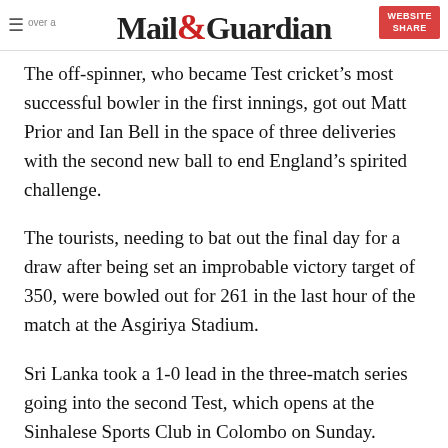Mail&Guardian
The off-spinner, who became Test cricket’s most successful bowler in the first innings, got out Matt Prior and Ian Bell in the space of three deliveries with the second new ball to end England’s spirited challenge.
The tourists, needing to bat out the final day for a draw after being set an improbable victory target of 350, were bowled out for 261 in the last hour of the match at the Asgiriya Stadium.
Sri Lanka took a 1-0 lead in the three-match series going into the second Test, which opens at the Sinhalese Sports Club in Colombo on Sunday.
England, who resumed the final day at 9-1 in their